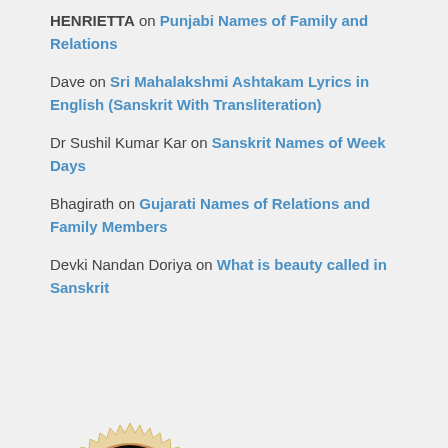HENRIETTA on Punjabi Names of Family and Relations
Dave on Sri Mahalakshmi Ashtakam Lyrics in English (Sanskrit With Transliteration)
Dr Sushil Kumar Kar on Sanskrit Names of Week Days
Bhagirath on Gujarati Names of Relations and Family Members
Devki Nandan Doriya on What is beauty called in Sanskrit
[Figure (photo): Circular portrait photo of a spiritual figure with curly hair wearing an orange robe, resting chin on hand, surrounded by a decorative gold sunburst/badge border on a light grey background.]